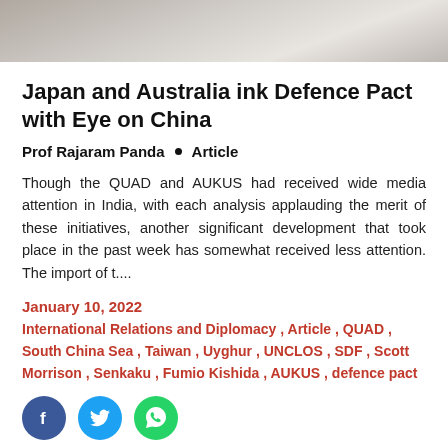[Figure (photo): Photo of a formal meeting or press conference setting, showing a white table/podium area with people in the background]
Japan and Australia ink Defence Pact with Eye on China
Prof Rajaram Panda  •  Article
Though the QUAD and AUKUS had received wide media attention in India, with each analysis applauding the merit of these initiatives, another significant development that took place in the past week has somewhat received less attention. The import of t....
January 10, 2022
International Relations and Diplomacy , Article , QUAD , South China Sea , Taiwan , Uyghur , UNCLOS , SDF , Scott Morrison , Senkaku , Fumio Kishida , AUKUS , defence pact